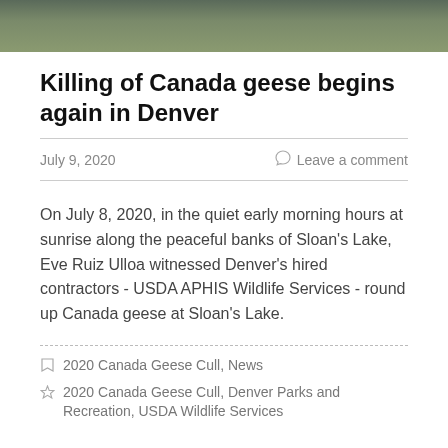[Figure (photo): Outdoor nature photo strip showing grass or ground cover in muted greens and browns]
Killing of Canada geese begins again in Denver
July 9, 2020
Leave a comment
On July 8, 2020, in the quiet early morning hours at sunrise along the peaceful banks of Sloan's Lake, Eve Ruiz Ulloa witnessed Denver's hired contractors - USDA APHIS Wildlife Services - round up Canada geese at Sloan's Lake.
2020 Canada Geese Cull, News
2020 Canada Geese Cull, Denver Parks and Recreation, USDA Wildlife Services